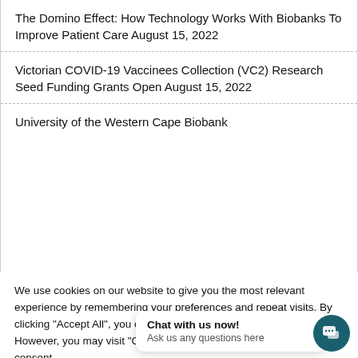The Domino Effect: How Technology Works With Biobanks To Improve Patient Care August 15, 2022
Victorian COVID-19 Vaccinees Collection (VC2) Research Seed Funding Grants Open August 15, 2022
University of the Western Cape Biobank
We use cookies on our website to give you the most relevant experience by remembering your preferences and repeat visits. By clicking "Accept All", you consent to the use of ALL the cookies. However, you may visit "Cookie Settings" to provide a controlled consent.
Cookie Settings | Accept All
Chat with us now! Ask us any questions here